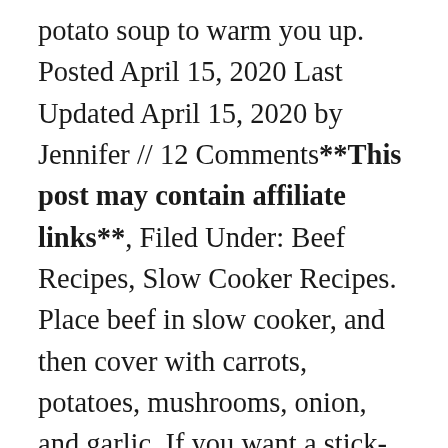potato soup to warm you up. Posted April 15, 2020 Last Updated April 15, 2020 by Jennifer // 12 Comments**This post may contain affiliate links**, Filed Under: Beef Recipes, Slow Cooker Recipes. Place beef in slow cooker, and then cover with carrots, potatoes, mushrooms, onion, and garlic. If you want a stick-to-your-bones recipe that's perfect for those 30 degrees and below days, make slow cooker goulash. https://magicskillet.com/recipe/slow-cooker-easy-hungarian-goulash-recipe 6 oz of pasta is going to feed 6? We're especially big fans of this slow cooker method. Even the pasta cooks in there! There is a lot of conversation around goulash and how to make this popular